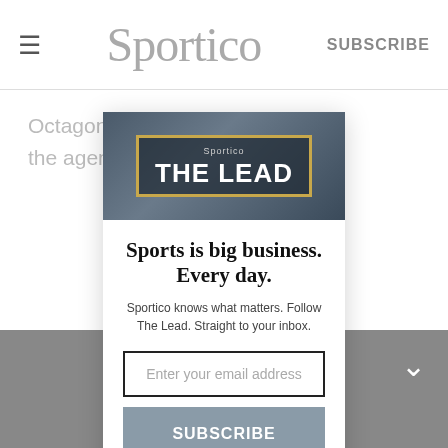Sportico | SUBSCRIBE
Octagon ... what the agenc... wimmer
The L... ss
[Figure (screenshot): Sportico newsletter popup modal with 'THE LEAD' header image. Contains headline 'Sports is big business. Every day.', subtext 'Sportico knows what matters. Follow The Lead. Straight to your inbox.', email input field, SUBSCRIBE button, and 'No, thank you.' link.]